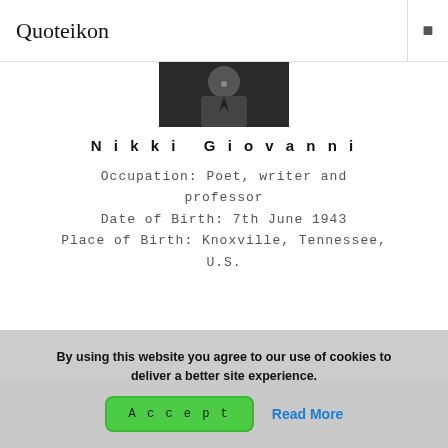Quoteikon
[Figure (photo): Black and white portrait photo of Nikki Giovanni]
Nikki Giovanni
Occupation: Poet, writer and professor
Date of Birth: 7th June 1943
Place of Birth: Knoxville, Tennessee, U.S.
By using this website you agree to our use of cookies to deliver a better site experience.
Accept   Read More
Nikolai Rimsky-Korsakov